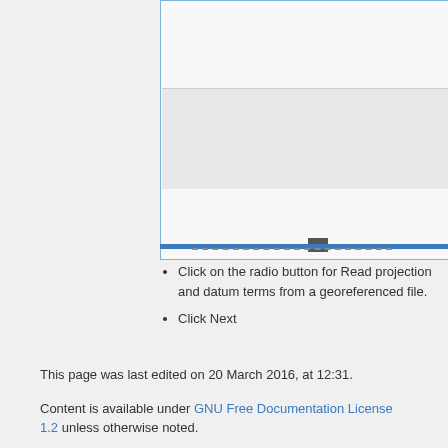[Figure (screenshot): Partial screenshot of a software dialog/interface with a light gray panel, a darker inner box, a blue horizontal bar, and a dashed line.]
Click on the radio button for Read projection and datum terms from a georeferenced file.
Click Next
This page was last edited on 20 March 2016, at 12:31.
Content is available under GNU Free Documentation License 1.2 unless otherwise noted.
This page has been accessed 62,505 times.
Privacy policy   About GRASS-Wiki
Disclaimers